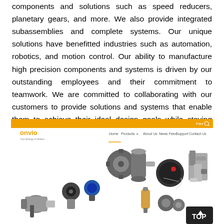components and solutions such as speed reducers, planetary gears, and more. We also provide integrated subassemblies and complete systems. Our unique solutions have benefitted industries such as automation, robotics, and motion control. Our ability to manufacture high precision components and systems is driven by our outstanding employees and their commitment to teamwork. We are committed to collaborating with our customers to provide solutions and systems that enable them to achieve their ideal design goals while staying within their budget. We pride ourselves in building high quality products and solutions, that are cost competitive across markets.
[Figure (screenshot): Screenshot of the Onvio website homepage showing the orange navigation bar with Home, Products, About Us, News Feed, Support, Contact Us links, the Onvio logo, and a collage of various mechanical components including speed reducers, gears, motors, and precision instruments on a white background.]